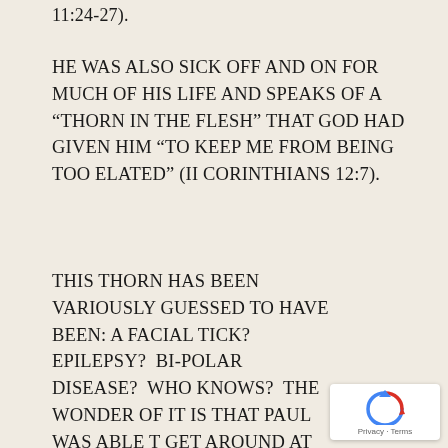11:24-27).
HE WAS ALSO SICK OFF AND ON FOR MUCH OF HIS LIFE AND SPEAKS OF A “THORN IN THE FLESH” THAT GOD HAD GIVEN HIM “TO KEEP ME FROM BEING TOO ELATED” (II CORINTHIANS 12:7).
THIS THORN HAS BEEN VARIOUSLY GUESSED TO HAVE BEEN: A FACIAL TICK?  EPILEPSY?  BI-POLAR DISEASE?  WHO KNOWS?  THE WONDER OF IT IS THAT PAUL WAS ABLE T GET AROUND AT ALL.